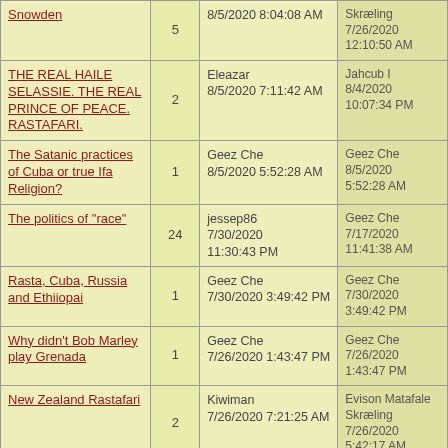| Topic | Replies | Last Post By | Started By |
| --- | --- | --- | --- |
| Snowden | 5 | 8/5/2020 8:04:08 AM | Skræling
7/26/2020 12:10:50 AM |
| THE REAL HAILE SELASSIE. THE REAL PRINCE OF PEACE. RASTAFARI. | 2 | Eleazar
8/5/2020 7:11:42 AM | Jahcub I
8/4/2020 10:07:34 PM |
| The Satanic practices of Cuba or true Ifa Religion? | 1 | Geez Che
8/5/2020 5:52:28 AM | Geez Che
8/5/2020 5:52:28 AM |
| The politics of "race" | 24 | jessep86
7/30/2020 11:30:43 PM | Geez Che
7/17/2020 11:41:38 AM |
| Rasta, Cuba, Russia and Ethiiopai | 1 | Geez Che
7/30/2020 3:49:42 PM | Geez Che
7/30/2020 3:49:42 PM |
| Why didn't Bob Marley play Grenada | 1 | Geez Che
7/26/2020 1:43:47 PM | Geez Che
7/26/2020 1:43:47 PM |
| New Zealand Rastafari | 2 | Kiwiman
7/26/2020 7:21:25 AM | Evison Matafale Skræling
7/26/2020 5:42:17 AM |
| African |  | Evison Matafale Skræling | Kofi Jatta |